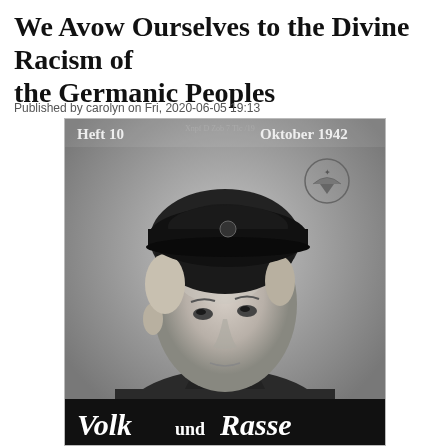We Avow Ourselves to the Divine Racism of the Germanic Peoples
Published by carolyn on Fri, 2020-06-05 19:13
[Figure (photo): Black and white photograph used as a magazine cover. Shows a young man in a dark military cap looking upward. Text in top left reads 'Heft 10', top right reads 'Oktober 1942'. A circular eagle/insignia stamp appears in the upper right area. Bottom of the image shows Gothic script text reading 'Volk und Rasse'.]